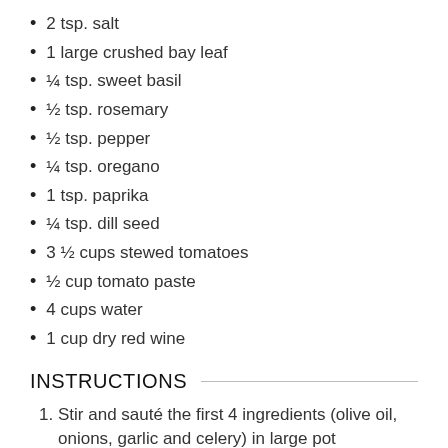2 tsp. salt
1 large crushed bay leaf
¼ tsp. sweet basil
½ tsp. rosemary
½ tsp. pepper
¼ tsp. oregano
1 tsp. paprika
¼ tsp. dill seed
3 ½ cups stewed tomatoes
½ cup tomato paste
4 cups water
1 cup dry red wine
INSTRUCTIONS
Stir and sauté the first 4 ingredients (olive oil, onions, garlic and celery) in large pot
Add parsley, salt, crushed bay leaf, basil